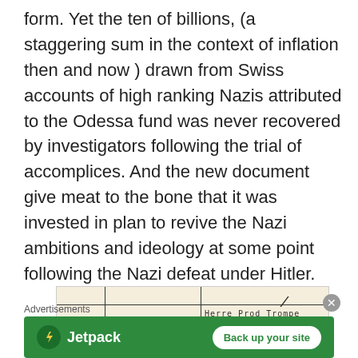form. Yet the ten of billions, (a staggering sum in the context of inflation then and now ) drawn from Swiss accounts of high ranking Nazis attributed to the Odessa fund was never recovered by investigators following the trial of accomplices. And the new document give meat to the bone that it was invested in plan to revive the Nazi ambitions and ideology at some point following the Nazi defeat under Hitler.
[Figure (photo): Partial view of a scanned historical document with table lines, handwritten signature, and typewritten text reading 'Herre Prod Trompe']
Advertisements
[Figure (screenshot): Jetpack advertisement banner with green background showing Jetpack logo and 'Back up your site' button]